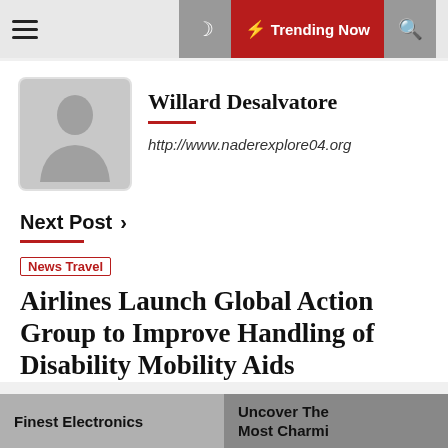☰  ☽  ⚡ Trending Now  🔍
[Figure (illustration): Author avatar placeholder with silhouette of a person on grey background]
Willard Desalvatore
http://www.naderexplore04.org
Next Post ›
News Travel
Airlines Launch Global Action Group to Improve Handling of Disability Mobility Aids
Finest Electronics | Uncover The Most Charmi…